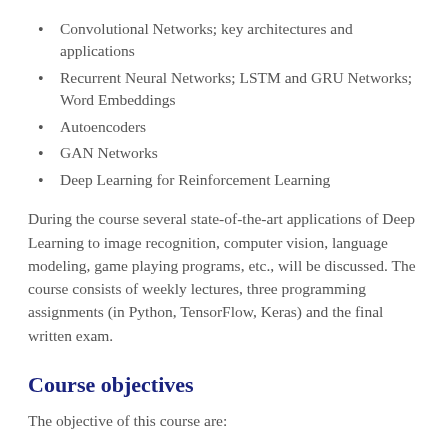Convolutional Networks; key architectures and applications
Recurrent Neural Networks; LSTM and GRU Networks; Word Embeddings
Autoencoders
GAN Networks
Deep Learning for Reinforcement Learning
During the course several state-of-the-art applications of Deep Learning to image recognition, computer vision, language modeling, game playing programs, etc., will be discussed. The course consists of weekly lectures, three programming assignments (in Python, TensorFlow, Keras) and the final written exam.
Course objectives
The objective of this course are:
to provide a general introduction to the field of deep